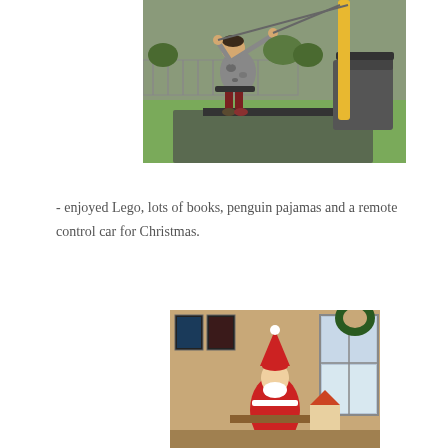[Figure (photo): A child on a zip-line or swing in a playground with green rubber flooring, metal fencing, and a yellow pole. The child is wearing a grey camouflage jacket and dark red pants.]
- enjoyed Lego, lots of books, penguin pajamas and a remote control car for Christmas.
[Figure (photo): An indoor Christmas scene showing a room with pictures on the wall, a Santa Claus figure, Christmas decorations including a wreath visible through the window, and festive items on a table.]